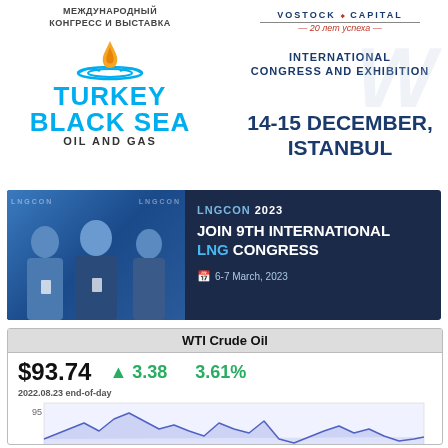МЕЖДУНАРОДНЫЙ КОНГРЕСС И ВЫСТАВКА
[Figure (logo): Turkey Black Sea Oil and Gas logo with flame/leaf icon and blue text]
[Figure (logo): Vostock Capital logo — 20 лет успеха]
INTERNATIONAL CONGRESS AND EXHIBITION
14-15 DECEMBER, ISTANBUL
[Figure (photo): LNGCON 2023 banner with photo of three men in suits, dark blue background, text: JOIN 9TH INTERNATIONAL LNG CONGRESS, 6-7 March, 2023]
| WTI Crude Oil |  |  |
| --- | --- | --- |
| $93.74 | ▲ 3.38 | 3.61% |
| 2022.08.23 end-of-day |  |  |
[Figure (continuous-plot): WTI Crude Oil price line chart showing price around 95 level with fluctuating line, partial view]